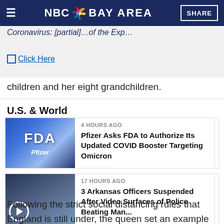NBC Bay Area
Coronavirus: [partial headline text]
Click Here
children and her eight grandchildren.
U.S. & World
[Figure (photo): FDA and Pfizer logos/signage]
4 HOURS AGO
Pfizer Asks FDA to Authorize Its Updated COVID Booster Targeting Omicron
[Figure (photo): News video thumbnail of Arkansas police scene with play button overlay]
17 HOURS AGO
3 Arkansas Officers Suspended After Video Surfaces of Police Beating Man...
Following the strict social distancing rules that England is still under, the queen set an example even in grief, sitting apart from family members who were arrayed around the